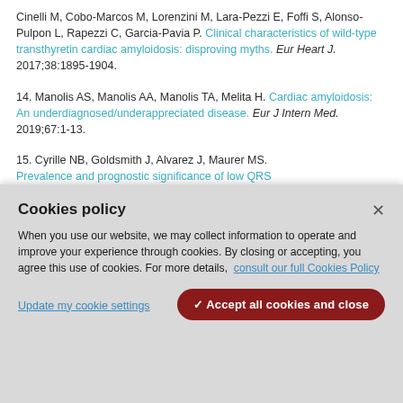Cinelli M, Cobo-Marcos M, Lorenzini M, Lara-Pezzi E, Foffi S, Alonso-Pulpon L, Rapezzi C, Garcia-Pavia P. Clinical characteristics of wild-type transthyretin cardiac amyloidosis: disproving myths. Eur Heart J. 2017;38:1895-1904.
14. Manolis AS, Manolis AA, Manolis TA, Melita H. Cardiac amyloidosis: An underdiagnosed/underappreciated disease. Eur J Intern Med. 2019;67:1-13.
15. Cyrille NB, Goldsmith J, Alvarez J, Maurer MS. Prevalence and prognostic significance of low QRS...
Cookies policy
When you use our website, we may collect information to operate and improve your experience through cookies. By closing or accepting, you agree this use of cookies. For more details, consult our full Cookies Policy
Update my cookie settings
✓ Accept all cookies and close